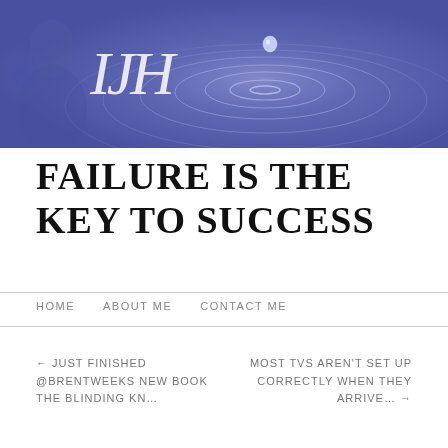[Figure (illustration): Website banner with medium blue-purple background, water ripple/droplet imagery, a faint portrait of a bearded man on the left, and an italic serif monogram 'JJH' in white/light color.]
FAILURE IS THE KEY TO SUCCESS
HOME    ABOUT ME    CONTACT ME
← JUST FINISHED @BRENTWEEKS NEW BOOK THE BLINDING KN…
MOST TVS AREN'T SET UP CORRECTLY WHEN THEY ARRIVE… →